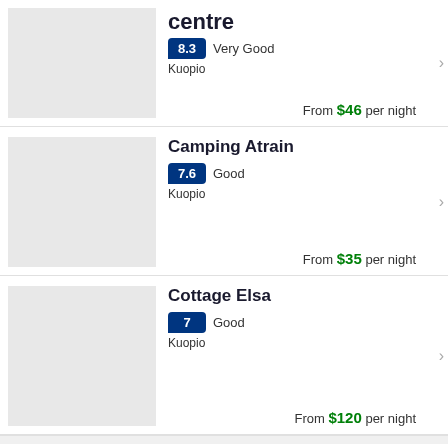centre
8.3 Very Good
Kuopio
From $46 per night
Camping Atrain
7.6 Good
Kuopio
From $35 per night
Cottage Elsa
7 Good
Kuopio
From $120 per night